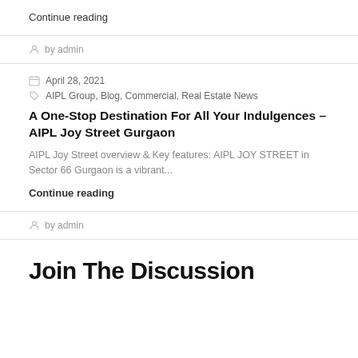Continue reading
by admin
April 28, 2021
AIPL Group, Blog, Commercial, Real Estate News
A One-Stop Destination For All Your Indulgences – AIPL Joy Street Gurgaon
AIPL Joy Street overview & Key features: AIPL JOY STREET in Sector 66 Gurgaon is a vibrant...
Continue reading
by admin
Join The Discussion